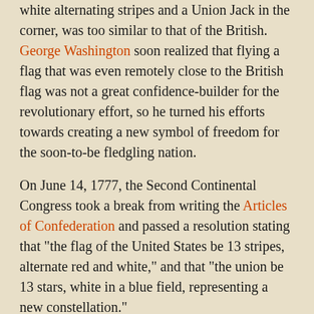white alternating stripes and a Union Jack in the corner, was too similar to that of the British. George Washington soon realized that flying a flag that was even remotely close to the British flag was not a great confidence-builder for the revolutionary effort, so he turned his efforts towards creating a new symbol of freedom for the soon-to-be fledgling nation.
On June 14, 1777, the Second Continental Congress took a break from writing the Articles of Confederation and passed a resolution stating that "the flag of the United States be 13 stripes, alternate red and white," and that "the union be 13 stars, white in a blue field, representing a new constellation."
Over 100 years later, in 1916, President Woodrow Wilson marked the anniversary of that decree by officially establishing June 14 as Flag Day. As you celebrate the anniversary of the Stars and Stripes, here are some fast facts about "Old Glory."
1. Bernard Cigrand, a small-town Wisconsin teacher, originated the idea for an annual flag day, to be celebrated across the country every June 14, in 1885. That year, he led his school in the first formal observance of the holiday.